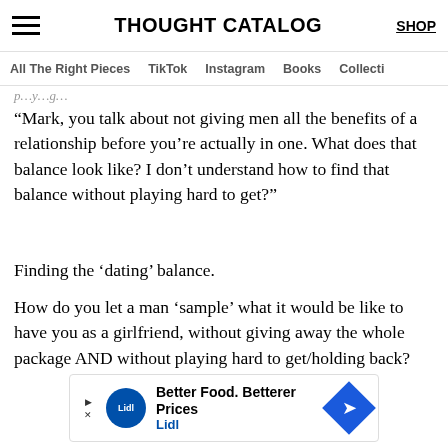THOUGHT CATALOG | SHOP
All The Right Pieces | TikTok | Instagram | Books | Collecti
“Mark, you talk about not giving men all the benefits of a relationship before you’re actually in one. What does that balance look like? I don’t understand how to find that balance without playing hard to get?”
Finding the ‘dating’ balance.
How do you let a man ‘sample’ what it would be like to have you as a girlfriend, without giving away the whole package AND without playing hard to get/holding back?
[Figure (infographic): Lidl advertisement banner: Better Food. Betterer Prices - Lidl logo with blue diamond arrow icon]